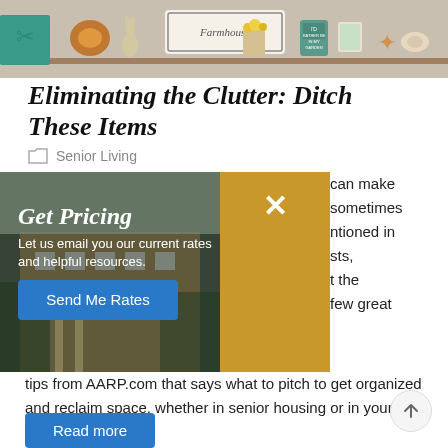[Figure (photo): Decorative shelf with craft items, a 'Farmhouse' sign, gardening tin, starfish, and seashells]
Eliminating the Clutter: Ditch These Items
Senior Living
[Figure (screenshot): Get Pricing popup overlay with building photo background, yellow close panel with X button, text 'Get Pricing', 'Let us email you our current rates and helpful resources.', and blue 'Send Me Rates' button]
can make sometimes ntioned in sts, t the few great tips from AARP.com that says what to pitch to get organized and reclaim space, whether in senior housing or in your own home.
Read more